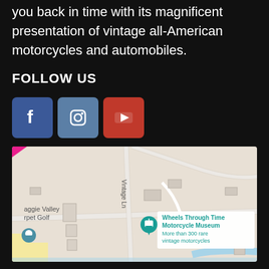you back in time with its magnificent presentation of vintage all-American motorcycles and automobiles.
FOLLOW US
[Figure (other): Social media icons: Facebook (blue square with f), Instagram (blue-grey square with camera icon), YouTube (red square with play button)]
[Figure (map): Google Maps screenshot showing Wheels Through Time Motorcycle Museum location with text 'More than 300 rare vintage motorcycles', nearby label 'aggie Valley rpet Golf', and street 'Vintage Ln']